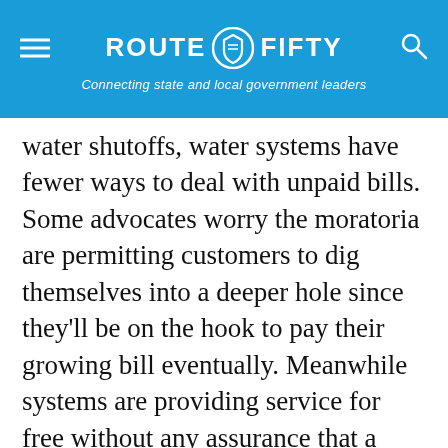ROUTE FIFTY — Connecting state and local government leaders
water shutoffs, water systems have fewer ways to deal with unpaid bills. Some advocates worry the moratoria are permitting customers to dig themselves into a deeper hole since they'll be on the hook to pay their growing bill eventually. Meanwhile systems are providing service for free without any assurance that a local government would step in to help.
Municipal and nonmunicipal systems are generally funded by user rates, not tax dollars. Small systems may not have the reserves to call